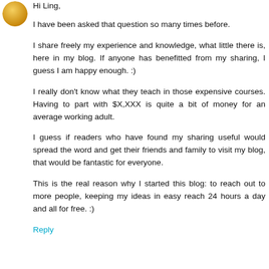[Figure (photo): Small circular avatar image showing a gold coin or medallion]
Hi Ling,
I have been asked that question so many times before.
I share freely my experience and knowledge, what little there is, here in my blog. If anyone has benefitted from my sharing, I guess I am happy enough. :)
I really don't know what they teach in those expensive courses. Having to part with $X,XXX is quite a bit of money for an average working adult.
I guess if readers who have found my sharing useful would spread the word and get their friends and family to visit my blog, that would be fantastic for everyone.
This is the real reason why I started this blog: to reach out to more people, keeping my ideas in easy reach 24 hours a day and all for free. :)
Reply